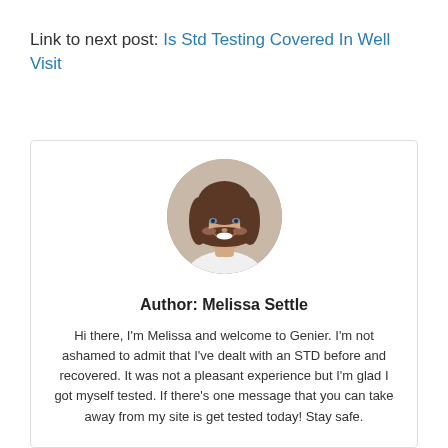Link to next post: Is Std Testing Covered In Well Visit
[Figure (photo): Circular portrait photo of a smiling woman with brown hair, Melissa Settle, the author of the site.]
Author: Melissa Settle
Hi there, I'm Melissa and welcome to Genier. I'm not ashamed to admit that I've dealt with an STD before and recovered. It was not a pleasant experience but I'm glad I got myself tested. If there's one message that you can take away from my site is get tested today! Stay safe.